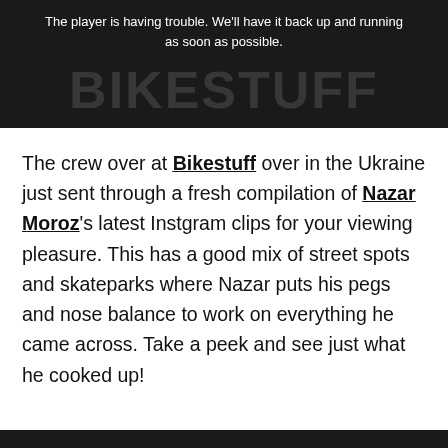[Figure (screenshot): Dark video player with error message 'The player is having trouble. We'll have it back up and running as soon as possible.' overlaid on a dark background showing the word BIKESTUFF in large letters.]
The crew over at Bikestuff over in the Ukraine just sent through a fresh compilation of Nazar Moroz's latest Instgram clips for your viewing pleasure. This has a good mix of street spots and skateparks where Nazar puts his pegs and nose balance to work on everything he came across. Take a peek and see just what he cooked up!